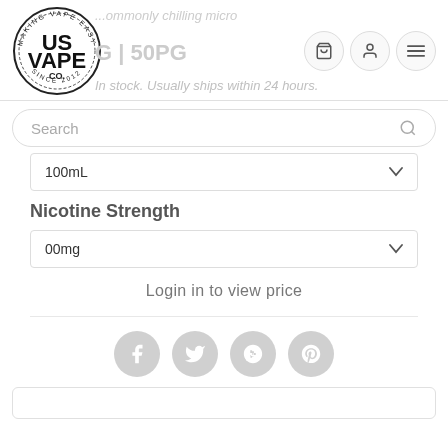[Figure (logo): US Vape Co. logo — circular badge reading MAKING VAPE EASY around the top, US VAPE CO. in bold center text, SINCE 2012 around the bottom]
...ommonly chilling micro
G | 50PG
In stock. Usually ships within 24 hours.
Search
100mL
Nicotine Strength
00mg
Login in to view price
[Figure (logo): Social media icons row: Facebook, Twitter, Google+, Pinterest — all in light grey circles]